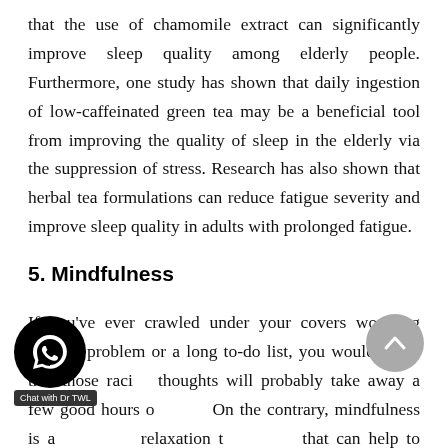that the use of chamomile extract can significantly improve sleep quality among elderly people. Furthermore, one study has shown that daily ingestion of low-caffeinated green tea may be a beneficial tool from improving the quality of sleep in the elderly via the suppression of stress. Research has also shown that herbal tea formulations can reduce fatigue severity and improve sleep quality in adults with prolonged fatigue.
5. Mindfulness
If you've ever crawled under your covers worrying about a problem or a long to-do list, you would know that those racing thoughts will probably take away a few good hours of sleep. On the contrary, mindfulness is a relaxation technique that can help to combat those anxious thoughts